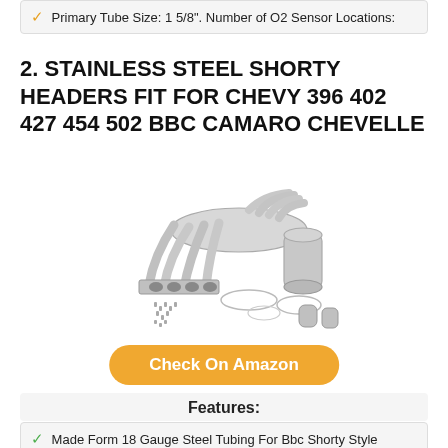Primary Tube Size: 1 5/8". Number of O2 Sensor Locations:
2. STAINLESS STEEL SHORTY HEADERS FIT FOR CHEVY 396 402 427 454 502 BBC CAMARO CHEVELLE
[Figure (photo): Product photo of stainless steel shorty headers for Chevy BBC engines, shown with gaskets, bolts, and collector extensions]
Check On Amazon
Features:
Made Form 18 Gauge Steel Tubing For Bbc Shorty Style
1 3/4" Primary Tube Diameter 3.000" Collector